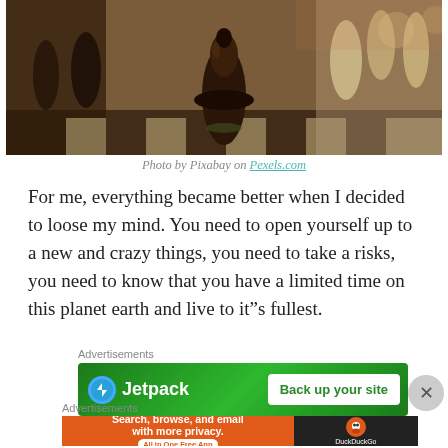[Figure (photo): Close-up photograph of dark wooden and light ivory chess pieces on a chessboard]
Photo by Pixabay on Pexels.com
For me, everything became better when I decided to loose my mind. You need to open yourself up to a new and crazy things, you need to take a risks, you need to know that you have a limited time on this planet earth and live to it”s fullest.
Advertisements
[Figure (screenshot): Jetpack advertisement banner: Jetpack logo on green background with 'Back up your site' button]
Advertisements
[Figure (screenshot): DuckDuckGo advertisement: 'Search, browse, and email with more privacy. All in One Free App' on orange background with DuckDuckGo logo on dark background]